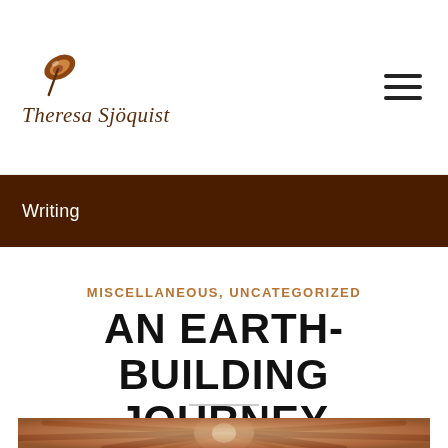Theresa Sjöquist
Writing
MISCELLANEOUS, UNCATEGORIZED
AN EARTH-BUILDING JOURNEY
[Figure (photo): Interior dome ceiling with wooden beams radiating in a spiral pattern, earth-building architecture, terracotta and wood tones]